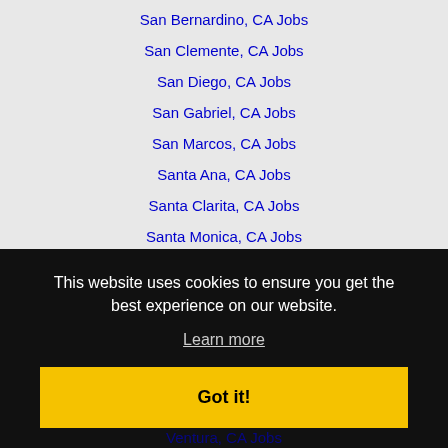San Bernardino, CA Jobs
San Clemente, CA Jobs
San Diego, CA Jobs
San Gabriel, CA Jobs
San Marcos, CA Jobs
Santa Ana, CA Jobs
Santa Clarita, CA Jobs
Santa Monica, CA Jobs
Santee, CA Jobs
Simi Valley, CA Jobs
This website uses cookies to ensure you get the best experience on our website.
Learn more
Got it!
Ventura, CA Jobs